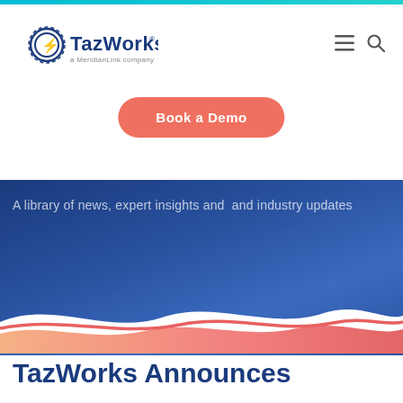[Figure (logo): TazWorks logo with gear/lightning bolt icon and 'a MeridianLink company' tagline]
[Figure (other): Book a Demo button with salmon/coral rounded rectangle]
A library of news, expert insights and  and industry updates
[Figure (illustration): Blue gradient background with wave shape in salmon/coral at the bottom]
TazWorks Announces